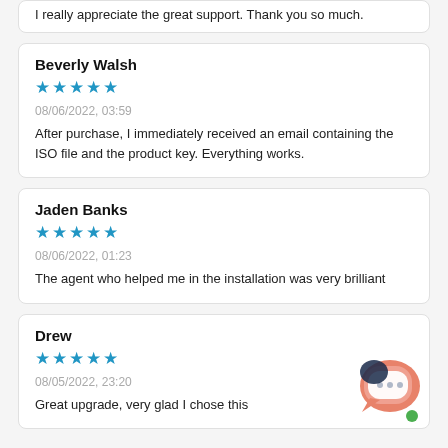I really appreciate the great support. Thank you so much.
Beverly Walsh
★★★★★
08/06/2022, 03:59
After purchase, I immediately received an email containing the ISO file and the product key. Everything works.
Jaden Banks
★★★★★
08/06/2022, 01:23
The agent who helped me in the installation was very brilliant
Drew
★★★★★
08/05/2022, 23:20
Great upgrade, very glad I chose this
[Figure (illustration): Chat bubble widget icon with speech bubble, ellipsis dots, coral/orange color, and green dot indicator]